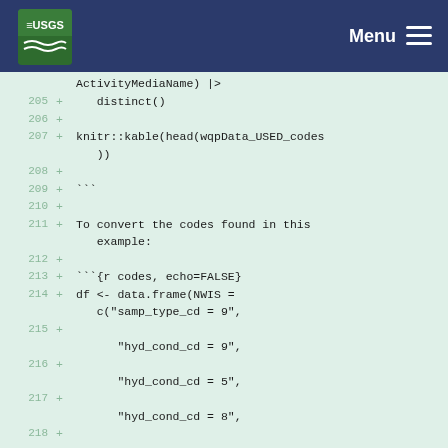USGS Menu
Code diff view showing lines 205-218 of R markdown document with NWIS water quality data processing code